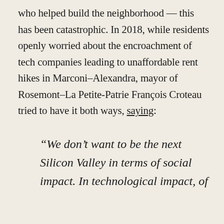who helped build the neighborhood — this has been catastrophic. In 2018, while residents openly worried about the encroachment of tech companies leading to unaffordable rent hikes in Marconi–Alexandra, mayor of Rosemont–La Petite-Patrie François Croteau tried to have it both ways, saying:
“We don’t want to be the next Silicon Valley in terms of social impact. In technological impact, of